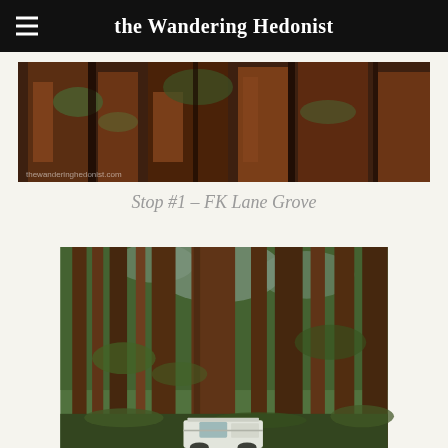the Wandering Hedonist
[Figure (photo): Close-up view looking up at the base and canopy of giant redwood trees, showing bark texture and greenery above]
Stop #1 – FK Lane Grove
[Figure (photo): A white camper van parked among towering giant redwood trees in a forest grove, looking up at the tall trunks and green canopy above]